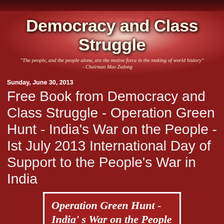Democracy and Class Struggle
"The people, and the people alone, are the motive force in the making of world history" - Chairman Mao Zedong
Sunday, June 30, 2013
Free Book from Democracy and Class Struggle - Operation Green Hunt - India's War on the People - Ist July 2013 International Day of Support to the People's War in India
[Figure (illustration): Book cover image with red background showing title 'Operation Green Hunt - India's War on the People' in white italic text, with green foliage imagery below.]